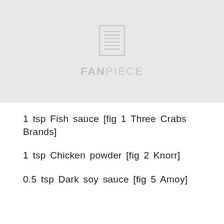[Figure (logo): FANPIECE logo with document icon on grey background]
1 tsp Fish sauce [fig 1 Three Crabs Brands]
1 tsp Chicken powder [fig 2 Knorr]
0.5 tsp Dark soy sauce [fig 5 Amoy]